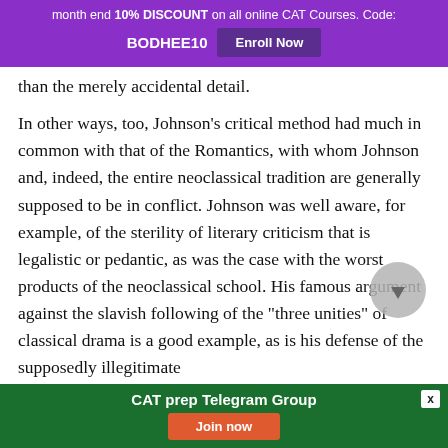month end 10% DISCOUNT on all online CAT Courses. Code: BODHEE10 Enroll Now
than the merely accidental detail.
In other ways, too, Johnson’s critical method had much in common with that of the Romantics, with whom Johnson and, indeed, the entire neoclassical tradition are generally supposed to be in conflict. Johnson was well aware, for example, of the sterility of literary criticism that is legalistic or pedantic, as was the case with the worst products of the neoclassical school. His famous argument against the slavish following of the “three unities” of classical drama is a good example, as is his defense of the supposedly illegitimate
CAT prep Telegram Group  Join now